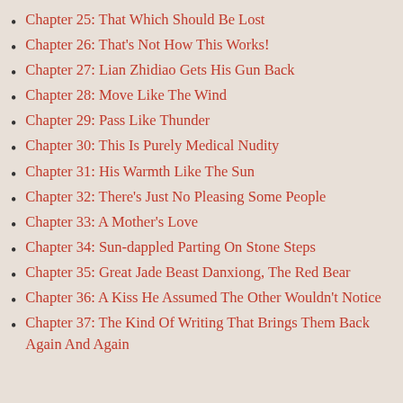Chapter 25: That Which Should Be Lost
Chapter 26: That's Not How This Works!
Chapter 27: Lian Zhidiao Gets His Gun Back
Chapter 28: Move Like The Wind
Chapter 29: Pass Like Thunder
Chapter 30: This Is Purely Medical Nudity
Chapter 31: His Warmth Like The Sun
Chapter 32: There's Just No Pleasing Some People
Chapter 33: A Mother's Love
Chapter 34: Sun-dappled Parting On Stone Steps
Chapter 35: Great Jade Beast Danxiong, The Red Bear
Chapter 36: A Kiss He Assumed The Other Wouldn't Notice
Chapter 37: The Kind Of Writing That Brings Them Back Again And Again